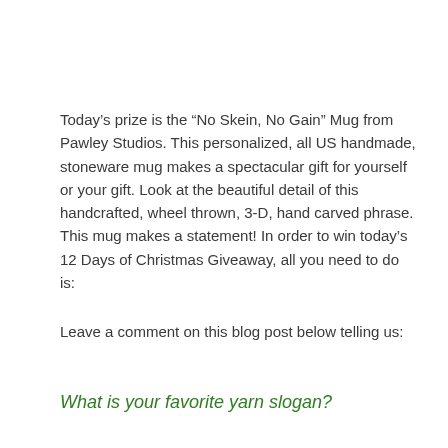Today’s prize is the “No Skein, No Gain” Mug from Pawley Studios. This personalized, all US handmade, stoneware mug makes a spectacular gift for yourself or your gift. Look at the beautiful detail of this handcrafted, wheel thrown, 3-D, hand carved phrase. This mug makes a statement! In order to win today’s 12 Days of Christmas Giveaway, all you need to do is:
Leave a comment on this blog post below telling us:
What is your favorite yarn slogan?